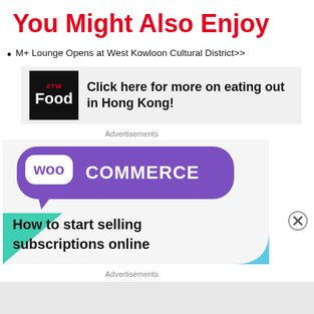You Might Also Enjoy
M+ Lounge Opens at West Kowloon Cultural District>>
[Figure (logo): ATW Food logo banner with text: Click here for more on eating out in Hong Kong!]
Advertisements
[Figure (infographic): WooCommerce advertisement: How to start selling subscriptions online, with purple speech bubble logo, teal triangle and light blue quarter-circle decorative shapes]
Advertisements